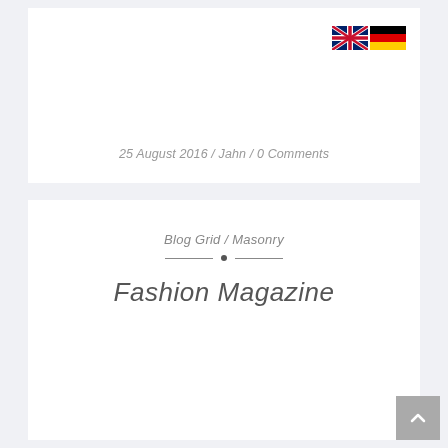[Figure (illustration): UK flag (Union Jack) and German flag icons side by side in the top right corner]
25 August 2016 / Jahn / 0 Comments
Blog Grid / Masonry
Fashion Magazine